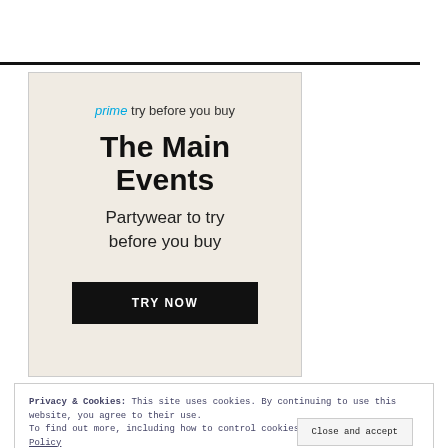[Figure (infographic): Amazon Prime 'Try Before You Buy' ad banner with beige background. Shows text: 'prime try before you buy', 'The Main Events', 'Partywear to try before you buy', and a black 'TRY NOW' button.]
Privacy & Cookies: This site uses cookies. By continuing to use this website, you agree to their use. To find out more, including how to control cookies, see here: Cookie Policy
Close and accept